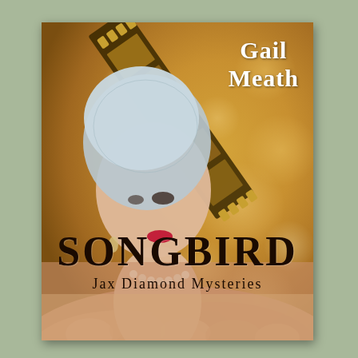[Figure (illustration): Book cover for 'Songbird' by Gail Meath. Features a 1920s woman in a gray cloche hat with pearl necklace and earrings, red lips, dramatic eye makeup, wearing a fur stole. Background is a warm golden bokeh with a film strip running diagonally. Author name 'Gail Meath' appears top right in white serif font. Title 'SONGBIRD' appears at the bottom in large black decorative Art Deco font, with subtitle 'Jax Diamond Mysteries' below in smaller text.]